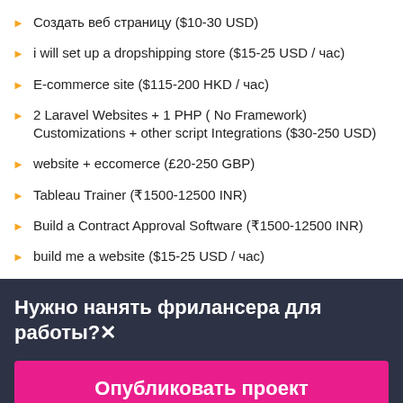Создать веб страницу ($10-30 USD)
i will set up a dropshipping store ($15-25 USD / час)
E-commerce site ($115-200 HKD / час)
2 Laravel Websites + 1 PHP ( No Framework) Customizations + other script Integrations ($30-250 USD)
website + eccomerce (£20-250 GBP)
Tableau Trainer (₹1500-12500 INR)
Build a Contract Approval Software (₹1500-12500 INR)
build me a website ($15-25 USD / час)
Нужно нанять фрилансера для работы?✕
Опубликовать проект